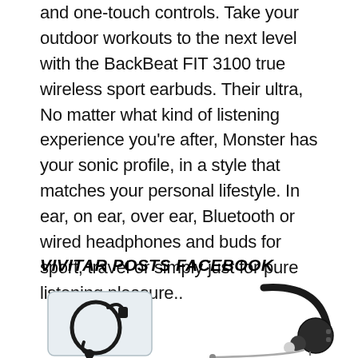and one-touch controls. Take your outdoor workouts to the next level with the BackBeat FIT 3100 true wireless sport earbuds. Their ultra, No matter what kind of listening experience you're after, Monster has your sonic profile, in a style that matches your personal lifestyle. In ear, on ear, over ear, Bluetooth or wired headphones and buds for sport, travel or simply just for pure listening pleasure..
VIVITAR POSTS FACEBOOK
[Figure (photo): Photo of a black Bluetooth earbud/headset in clear plastic packaging]
[Figure (photo): Photo of a black over-ear Bluetooth headset with ear hook and microphone boom]